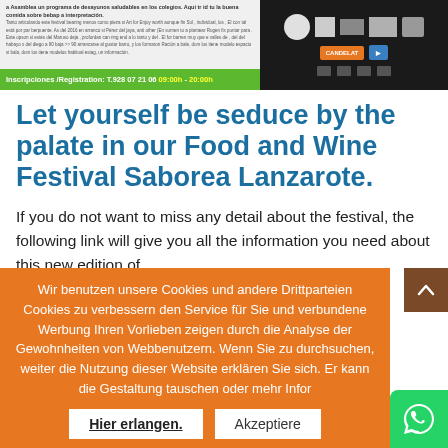[Figure (screenshot): Website header banner with text in Spanish/English about Saborea Lanzarote festival, green registration bar showing 'Inscripciones /Registration: T.928 07 21 06 09:00h - 20:00h', and sponsor logos on dark background]
Let yourself be seduce by the palate in our Food and Wine Festival Saborea Lanzarote.
If you do not want to miss any detail about the festival, the following link will give you all the information you need about this new edition of
Wir benutzen unsere Cookies und andere Drittparteien Cookies zu verbessern den Service für Sie und verbundene Werbung Ihren Vorlieben zeigen durch die Analyse der Gewohnheiten von Webbenutzern. Wenn Sie zu durchsuchen, weiter die Nutzung dieser Website erklären Sie sich. Er kann die Gestaltung tauschen oder mehr Infor
Hier erlangen.	Akzeptiere